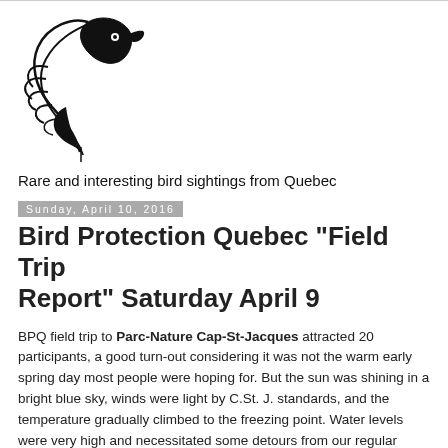[Figure (logo): Black and white stylized bird logo (line art of a bird head with decorative feather lines)]
Rare and interesting bird sightings from Quebec
Sunday, April 10, 2016
Bird Protection Quebec "Field Trip Report" Saturday April 9
BPQ field trip to Parc-Nature Cap-St-Jacques attracted 20 participants, a good turn-out considering it was not the warm early spring day most people were hoping for. But the sun was shining in a bright blue sky, winds were light by C.St. J. standards, and the temperature gradually climbed to the freezing point. Water levels were very high and necessitated some detours from our regular itinerary at this park.